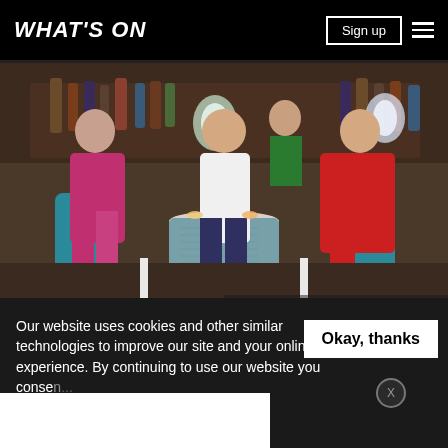WHAT'S ON
[Figure (photo): Three people at a bar table toasting with cocktails. Two women and one man. Woman on left in magenta/pink outfit, man in center wearing white shirt, woman on right in red dress. Bar setting with bottles in background and a bartender wearing green vest and blue mask.]
Our website uses cookies and other similar technologies to improve our site and your online experience. By continuing to use our website you consen[t to] our pr[ivacy policy]